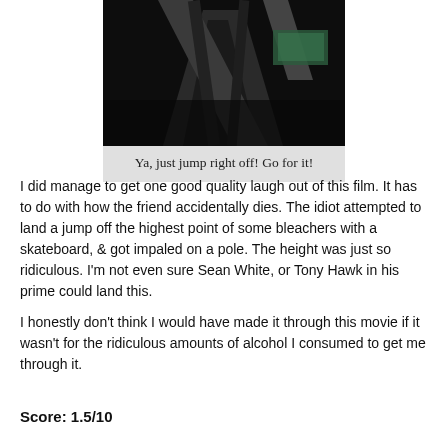[Figure (photo): Dark image showing angular metal bleacher structures from below against a dark background with a faint green-lit area visible.]
Ya, just jump right off! Go for it!
I did manage to get one good quality laugh out of this film. It has to do with how the friend accidentally dies. The idiot attempted to land a jump off the highest point of some bleachers with a skateboard, & got impaled on a pole. The height was just so ridiculous. I'm not even sure Sean White, or Tony Hawk in his prime could land this.
I honestly don't think I would have made it through this movie if it wasn't for the ridiculous amounts of alcohol I consumed to get me through it.
Score: 1.5/10